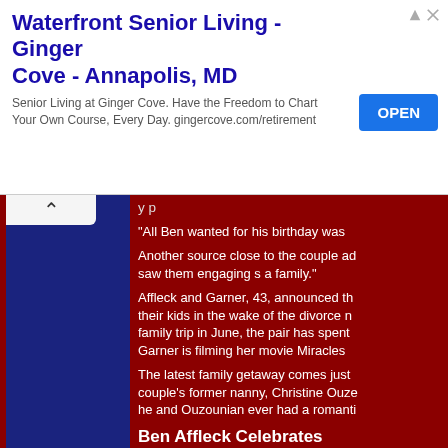[Figure (other): Advertisement banner for Waterfront Senior Living - Ginger Cove - Annapolis, MD with an OPEN button]
"All Ben wanted for his birthday was
Another source close to the couple ad... saw them engaging s a family."
Affleck and Garner, 43, announced th... their kids in the wake of the divorce n... family trip in June, the pair has spent... Garner is filming her movie Miracles
The latest family getaway comes just... couple's former nanny, Christine Ouze... he and Ouzounian ever had a romanti...
Ben Affleck Celebrates World of Harry Potter v
(Pic, Pic?) Ben Affleck rang in his b...